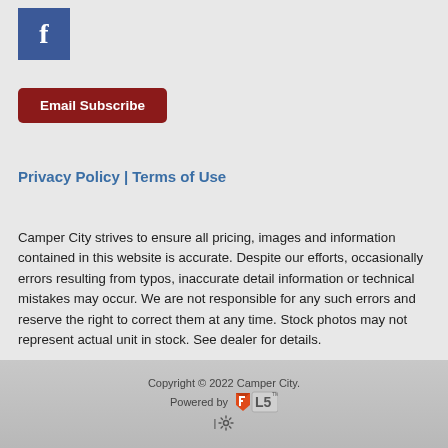[Figure (logo): Facebook logo - blue square with white 'f' letter]
Email Subscribe
Privacy Policy | Terms of Use
Camper City strives to ensure all pricing, images and information contained in this website is accurate. Despite our efforts, occasionally errors resulting from typos, inaccurate detail information or technical mistakes may occur. We are not responsible for any such errors and reserve the right to correct them at any time. Stock photos may not represent actual unit in stock. See dealer for details.
Copyright © 2022 Camper City. Powered by [LS logo] | [gear icon]